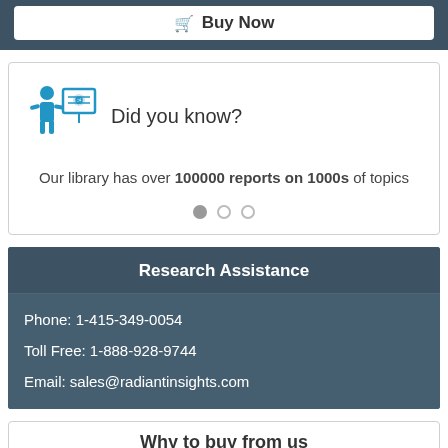Buy Now
[Figure (infographic): Did you know? icon showing a person presenting at a board with a chart and dollar sign]
Did you know?
Our library has over 100000 reports on 1000s of topics
Research Assistance
Phone: 1-415-349-0054
Toll Free: 1-888-928-9744
Email: sales@radiantinsights.com
Why to buy from us